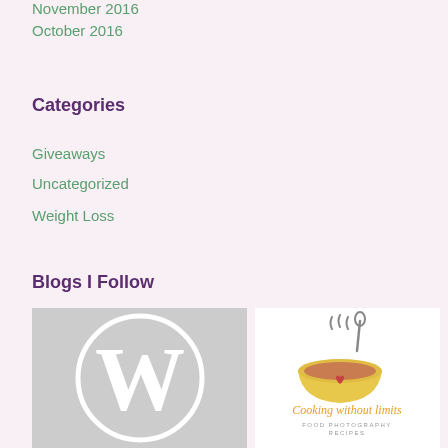November 2016
October 2016
Categories
Giveaways
Uncategorized
Weight Loss
Blogs I Follow
[Figure (logo): WordPress logo - grey background with white W circle icon]
[Figure (logo): Cooking without limits blog logo - yellow bowl with steam and spoon, cursive orange text reading 'Cooking without limits', subtitle 'FOOD PHOTOGRAPHY RECIPES']